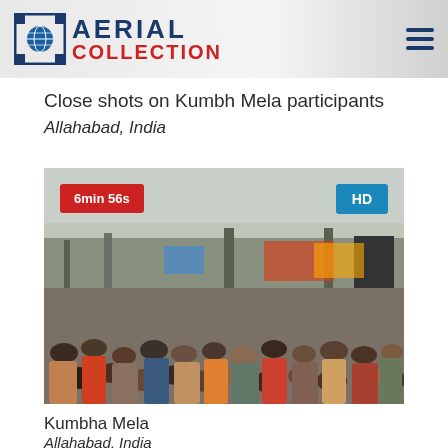AERIAL COLLECTION
Close shots on Kumbh Mela participants
Allahabad, India
[Figure (photo): Aerial/elevated view of a massive crowd at Kumbh Mela in Allahabad, India. Thousands of people visible with banners, stalls, and structures in the background. Duration badge shows 6min 56s and HD badge visible.]
Kumbha Mela
Allahabad, India